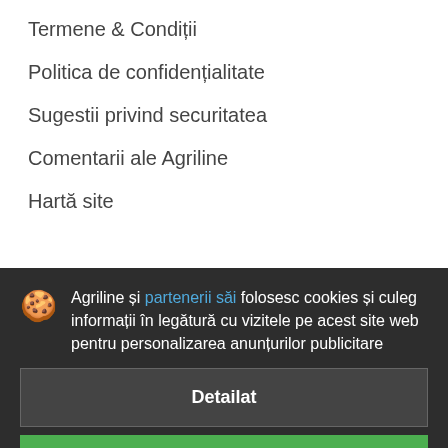Termene & Condiții
Politica de confidențialitate
Sugestii privind securitatea
Comentarii ale Agriline
Hartă site
Propunerile noastre
Agriline și partenerii săi folosesc cookies și culeg informații în legătură cu vizitele pe acest site web pentru personalizarea anunțurilor publicitare
Detailat
Acceptă și închide